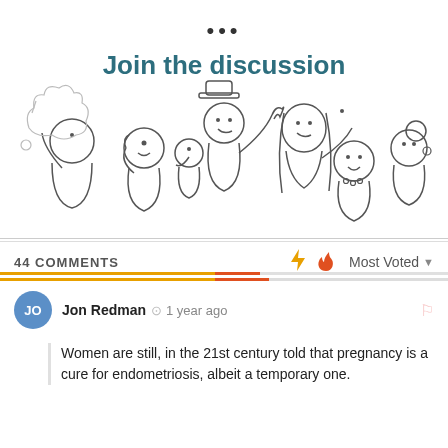•••
Join the discussion
[Figure (illustration): Line drawing illustration of a group of diverse people talking and gesturing in a discussion]
44 COMMENTS
Most Voted
Jon Redman  1 year ago
Women are still, in the 21st century told that pregnancy is a cure for endometriosis, albeit a temporary one.